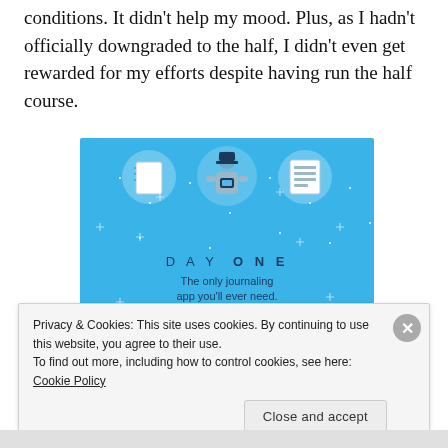conditions. It didn't help my mood. Plus, as I hadn't officially downgraded to the half, I didn't even get rewarded for my efforts despite having run the half course.
[Figure (illustration): Advertisement for Day One journaling app. Blue background with sparkle dots, three circular icons at top (notebook, person using phone, notes list), text 'DAY ONE - The only journaling app you'll ever need.' and a 'Get the app' button.]
Privacy & Cookies: This site uses cookies. By continuing to use this website, you agree to their use.
To find out more, including how to control cookies, see here: Cookie Policy